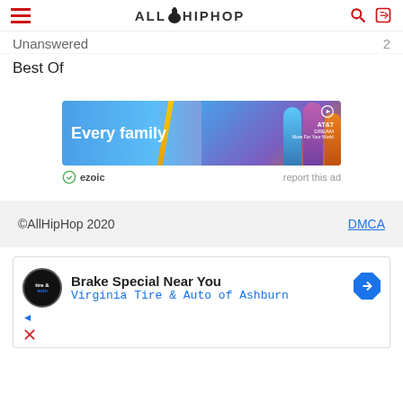AllHipHop
Unanswered
Best Of
[Figure (photo): AT&T DREAM advertisement banner showing 'Every family' text with three women posing]
ezoic   report this ad
©AllHipHop 2020   DMCA
[Figure (screenshot): Google ad for Brake Special Near You - Virginia Tire & Auto of Ashburn with tire logo and direction arrow icon]